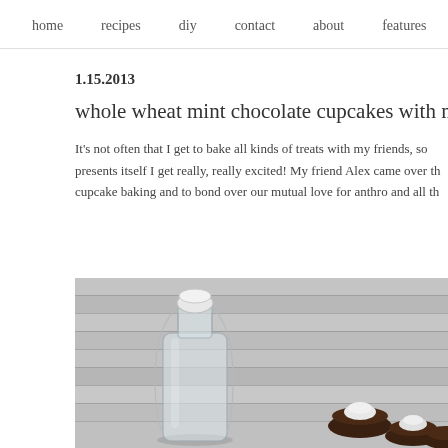home   recipes   diy   contact   about   features
1.15.2013
whole wheat mint chocolate cupcakes with mint cre
It's not often that I get to bake all kinds of treats with my friends, so when the opportunity presents itself I get really, really excited! My friend Alex came over the other day for some cupcake baking and to bond over our mutual love for anthro and all th
[Figure (photo): A glass milk bottle with a clip-top lid sitting on a grey wooden surface, with chocolate cupcakes with white frosting visible in the background to the right.]